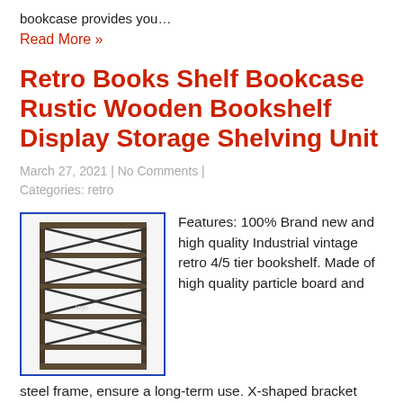bookcase provides you…
Read More »
Retro Books Shelf Bookcase Rustic Wooden Bookshelf Display Storage Shelving Unit
March 27, 2021 | No Comments | Categories: retro
[Figure (photo): A metal and wood industrial vintage retro bookshelf with 4/5 tiers and X-shaped bracket supports, shown against a white background.]
Features: 100% Brand new and high quality Industrial vintage retro 4/5 tier bookshelf. Made of high quality particle board and steel frame, ensure a long-term use. X-shaped bracket and sturdy rods under the shelf for extra support Perfect for displaying your favourite books, games, plants, decorations and more. Non-slip & anti-scratch rubber ring under the…